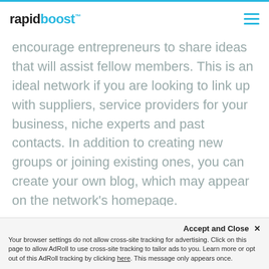rapidboost™
encourage entrepreneurs to share ideas that will assist fellow members. This is an ideal network if you are looking to link up with suppliers, service providers for your business, niche experts and past contacts. In addition to creating new groups or joining existing ones, you can create your own blog, which may appear on the network's homepage.
PERFECTBUSINESS.COM
If you are looking to engage with a large group
Accept and Close ×
Your browser settings do not allow cross-site tracking for advertising. Click on this page to allow AdRoll to use cross-site tracking to tailor ads to you. Learn more or opt out of this AdRoll tracking by clicking here. This message only appears once.